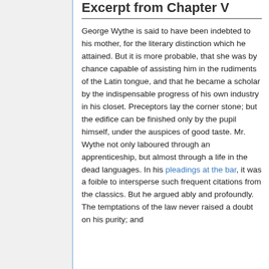Excerpt from Chapter V
George Wythe is said to have been indebted to his mother, for the literary distinction which he attained. But it is more probable, that she was by chance capable of assisting him in the rudiments of the Latin tongue, and that he became a scholar by the indispensable progress of his own industry in his closet. Preceptors lay the corner stone; but the edifice can be finished only by the pupil himself, under the auspices of good taste. Mr. Wythe not only laboured through an apprenticeship, but almost through a life in the dead languages. In his pleadings at the bar, it was a foible to intersperse such frequent citations from the classics. But he argued ably and profoundly. The temptations of the law never raised a doubt on his purity; and